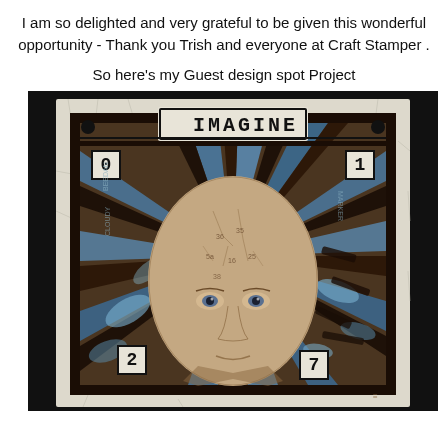I am so delighted and very grateful to be given this wonderful opportunity - Thank you Trish and everyone at Craft Stamper .
So here's my Guest design spot Project
[Figure (photo): A mixed-media craft art piece featuring a bald human face/head (phrenology-style) at the center, with radiating blue and dark brown/black rays emanating outward. The piece has a crackle-finish white outer frame with small number badges (0, 1, 2, 7) in the corners and an 'IMAGINE' label at the top. The background has a dark border and the overall aesthetic is mixed-media stamping art.]